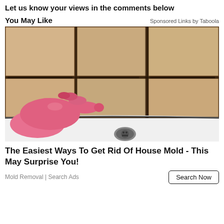Let us know your views in the comments below
You May Like
Sponsored Links by Taboola
[Figure (photo): Photo of a bathroom shower corner with beige/tan tiles and black mold along the grout lines. A hand wearing a pink rubber glove points at the black mold near the drain of a white bathtub/shower basin.]
The Easiest Ways To Get Rid Of House Mold - This May Surprise You!
Mold Removal | Search Ads
Search Now